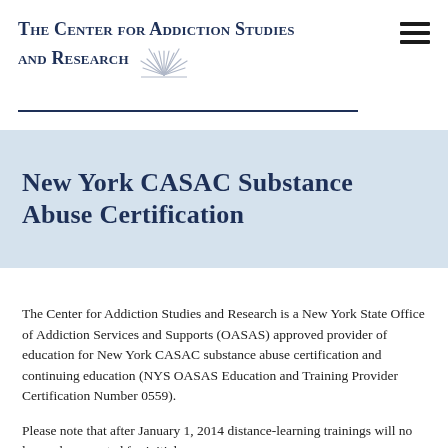The Center for Addiction Studies and Research
New York CASAC Substance Abuse Certification
The Center for Addiction Studies and Research is a New York State Office of Addiction Services and Supports (OASAS) approved provider of education for New York CASAC substance abuse certification and continuing education (NYS OASAS Education and Training Provider Certification Number 0559).
Please note that after January 1, 2014 distance-learning trainings will no longer be accepted for initial